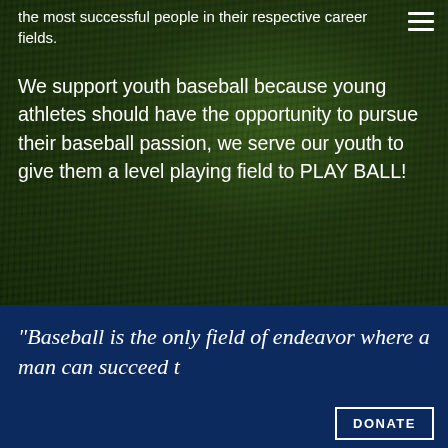the most successful people in their respective career fields.
We support youth baseball because young athletes should have the opportunity to pursue their baseball passion, we serve our youth to give them a level playing field to PLAY BALL!
[Figure (photo): Dark green grass/turf background image filling the upper section of the page]
"Baseball is the only field of endeavor where a man can succeed t
DONATE